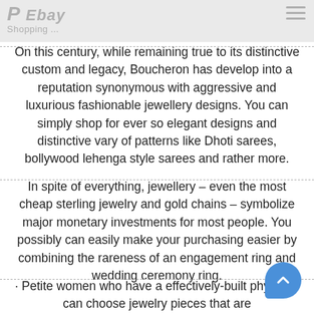P... Ebay Shopping...
On this century, while remaining true to its distinctive custom and legacy, Boucheron has develop into a reputation synonymous with aggressive and luxurious fashionable jewellery designs. You can simply shop for ever so elegant designs and distinctive vary of patterns like Dhoti sarees, bollywood lehenga style sarees and rather more.
In spite of everything, jewellery – even the most cheap sterling jewelry and gold chains – symbolize major monetary investments for most people. You possibly can easily make your purchasing easier by combining the rareness of an engagement ring and wedding ceremony ring.
· Petite women who have a effectively-built physique can choose jewelry pieces that are ...